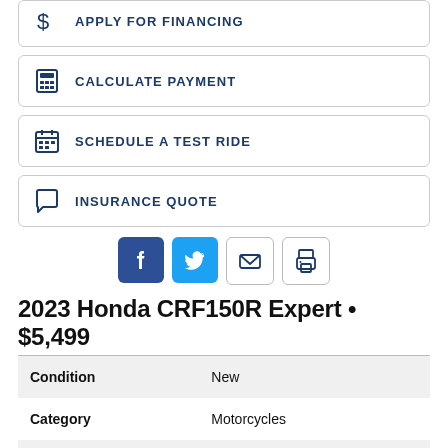APPLY FOR FINANCING
CALCULATE PAYMENT
SCHEDULE A TEST RIDE
INSURANCE QUOTE
[Figure (infographic): Social sharing icons: Facebook, Twitter, Email, Print]
2023 Honda CRF150R Expert • $5,499
| Condition | New |
| Category | Motorcycles |
| Model Type | Competition |
| Model Code | CRF150RBP |